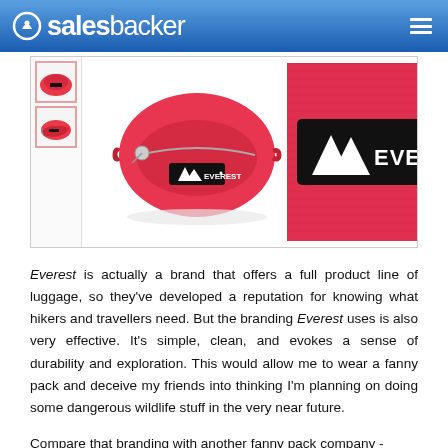salesbacker
[Figure (photo): Product photos of a red Everest fanny pack and a close-up of the Everest brand logo patch on red fabric background]
Everest is actually a brand that offers a full product line of luggage, so they've developed a reputation for knowing what hikers and travellers need. But the branding Everest uses is also very effective. It's simple, clean, and evokes a sense of durability and exploration. This would allow me to wear a fanny pack and deceive my friends into thinking I'm planning on doing some dangerous wildlife stuff in the very near future.
Compare that branding with another fanny pack company -